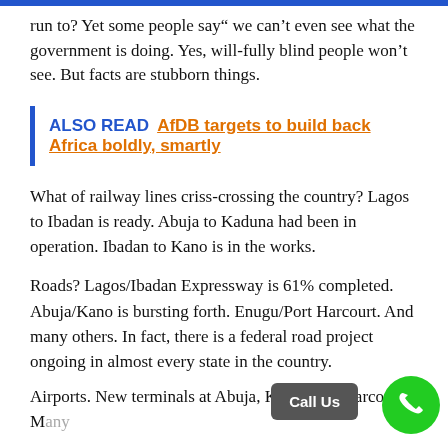run to? Yet some people say“ we can’t even see what the government is doing. Yes, will-fully blind people won’t see. But facts are stubborn things.
ALSO READ  AfDB targets to build back Africa boldly, smartly
What of railway lines criss-crossing the country? Lagos to Ibadan is ready. Abuja to Kaduna had been in operation. Ibadan to Kano is in the works.
Roads? Lagos/Ibadan Expressway is 61% completed. Abuja/Kano is bursting forth. Enugu/Port Harcourt. And many others. In fact, there is a federal road project ongoing in almost every state in the country.
Airports. New terminals at Abuja, Kano, Port Harcourt. Many